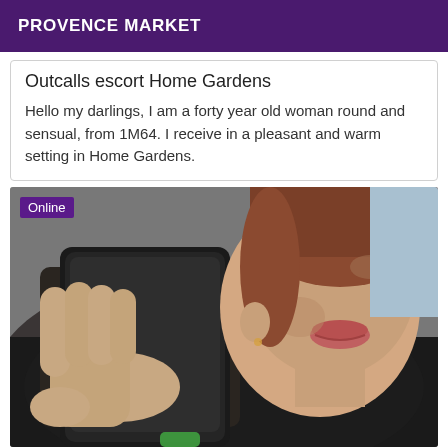PROVENCE MARKET
Outcalls escort Home Gardens
Hello my darlings, I am a forty year old woman round and sensual, from 1M64. I receive in a pleasant and warm setting in Home Gardens.
[Figure (photo): A person holding a smartphone taking a selfie in a mirror, wearing a black t-shirt, face partially visible showing lips and cheek, with reddish-brown hair, and a background of blue/white wall. An 'Online' badge appears in the top-left corner.]